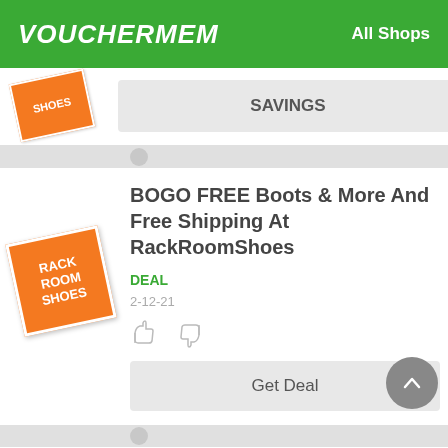VOUCHERMEM  All Shops
[Figure (logo): Shoes store logo partial, orange with white text, rotated]
SAVINGS
BOGO FREE Boots & More And Free Shipping At RackRoomShoes
DEAL
2-12-21
[Figure (logo): Rack Room Shoes logo, orange square with white text, rotated]
Get Deal
Approximately Half Off Boots